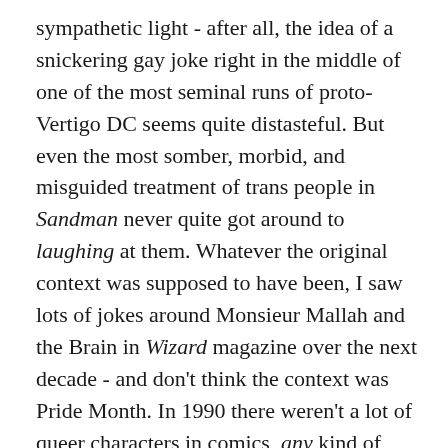sympathetic light - after all, the idea of a snickering gay joke right in the middle of one of the most seminal runs of proto-Vertigo DC seems quite distasteful. But even the most somber, morbid, and misguided treatment of trans people in Sandman never quite got around to laughing at them. Whatever the original context was supposed to have been, I saw lots of jokes around Monsieur Mallah and the Brain in Wizard magazine over the next decade - and don't think the context was Pride Month. In 1990 there weren't a lot of queer characters in comics, any kind of comics, but there was Doom Patrol #34, a joke on its face that people just learned to accept as the years and decades rolled by. Danny the Street is a fan favorite, and I think the success of that character probably makes it easier to gloss over the early jokes.